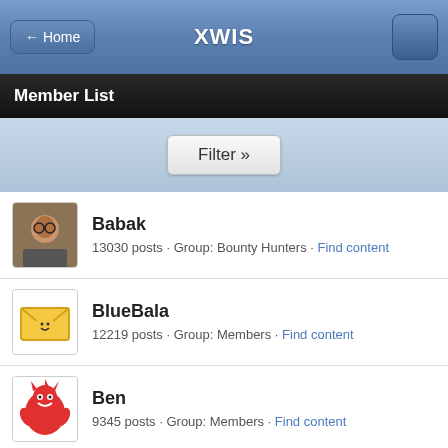XWIS
Member List
Filter »
Babak · 13030 posts · Group: Bounty Hunters · Find content
BlueBala · 12219 posts · Group: Members · Find content
Ben · 9345 posts · Group: Members · Find content
BOUNCER · 4255 posts · Group: Members · Find content
bobbo · 3942 posts · Group: Members · Find content
BoHuanNe